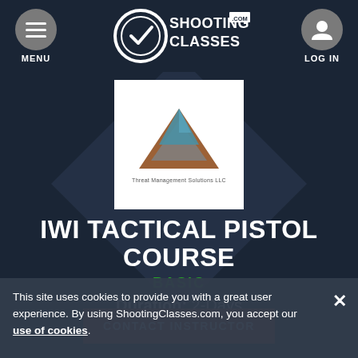MENU | ShootingClasses.com | LOG IN
[Figure (logo): Threat Management Solutions LLC logo — pyramid made of layered triangles in brown, grey, and blue tones on white background]
IWI TACTICAL PISTOL COURSE
BASIC
Duration: 2-Days
CONTACT INSTRUCTOR
This site uses cookies to provide you with a great user experience. By using ShootingClasses.com, you accept our use of cookies.